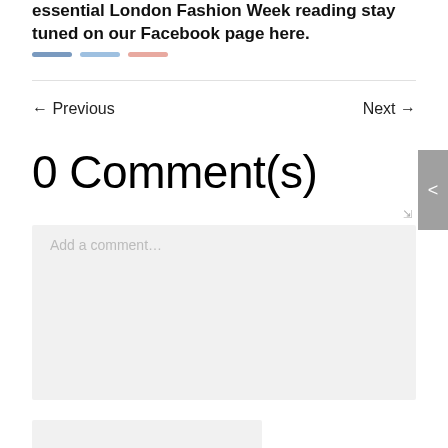essential London Fashion Week reading stay tuned on our Facebook page here.
← Previous    Next →
0 Comment(s)
Add a comment…